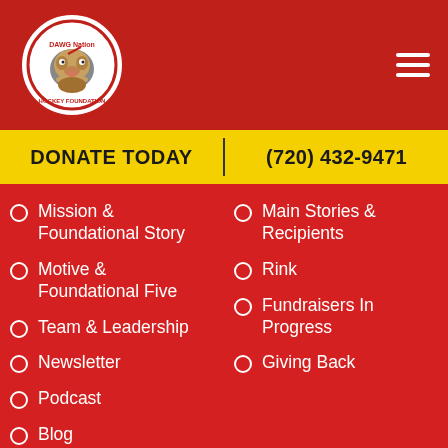[Figure (logo): DAWG Nation Hockey Foundation circular logo with bulldog mascot]
DONATE TODAY | (720) 432-9471
Mission & Foundational Story
Motive & Foundational Five
Team & Leadership
Newsletter
Podcast
Blog
Media
Locations
Main Stories & Recipients
Rink
Fundraisers In Progress
Giving Back